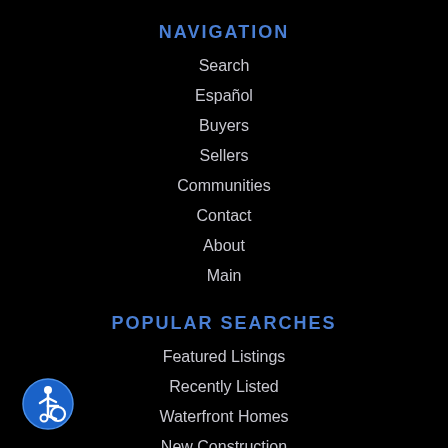NAVIGATION
Search
Español
Buyers
Sellers
Communities
Contact
About
Main
POPULAR SEARCHES
Featured Listings
Recently Listed
Waterfront Homes
New Construction
Upcoming Open Houses
[Figure (logo): Accessibility icon - blue circle with white wheelchair user symbol]